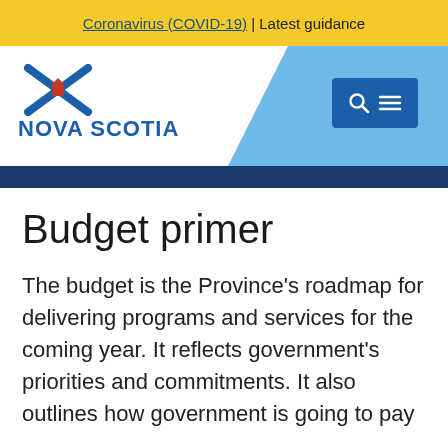Coronavirus (COVID-19) | Latest guidance
[Figure (logo): Nova Scotia government logo with stylized blue saltire cross and red lion, with 'NOVA SCOTIA' text in blue, alongside a blue search/menu button]
Budget primer
The budget is the Province's roadmap for delivering programs and services for the coming year. It reflects government's priorities and commitments. It also outlines how government is going to pay